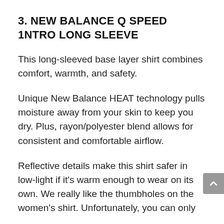3. NEW BALANCE Q SPEED 1NTRO LONG SLEEVE
This long-sleeved base layer shirt combines comfort, warmth, and safety.
Unique New Balance HEAT technology pulls moisture away from your skin to keep you dry. Plus, rayon/polyester blend allows for consistent and comfortable airflow.
Reflective details make this shirt safer in low-light if it's warm enough to wear on its own. We really like the thumbholes on the women's shirt. Unfortunately, you can only